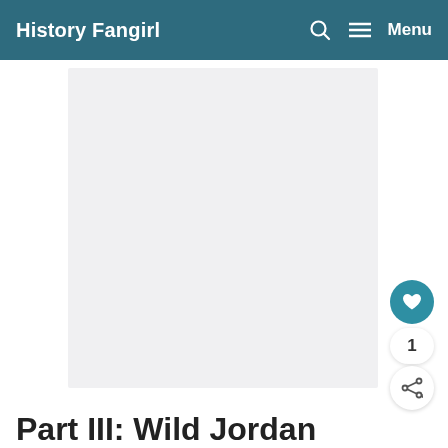History Fangirl
[Figure (photo): Placeholder/blank light gray image area for an article photo]
Part III: Wild Jordan